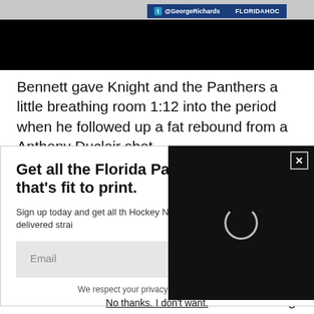[Figure (screenshot): Top image area showing dark background with Twitter bar displaying @GeorgeRichards and FLORIDAHOC text]
Bennett gave Knight and the Panthers a little breathing room 1:12 into the period when he followed up a fat rebound from a Anthony Duclair shot.
Get all the Florida Panthers news that's fit to print.
Sign up today and get all the Florida Hockey Now delivered straight to your inbox.
We respect your privacy and take protecting it seriously
No thanks. I don't want.